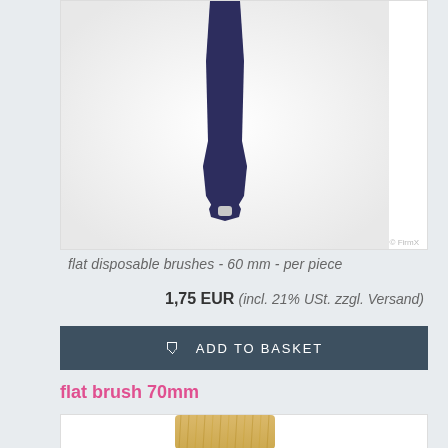[Figure (photo): Close-up photo of a flat disposable brush with a dark navy/purple plastic handle, showing the handle end with a small hole, on a white background. The bristles are not visible - only the handle.]
flat disposable brushes - 60 mm - per piece
1,75 EUR (incl. 21% USt. zzgl. Versand)
ADD TO BASKET
flat brush 70mm
[Figure (photo): Bottom portion of a product photo showing a flat brush 70mm with golden/straw-colored bristles, partially visible at the bottom of the page.]